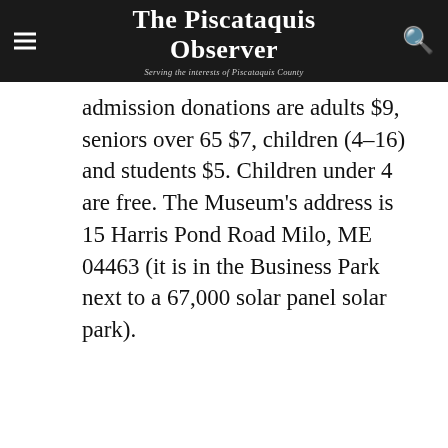The Piscataquis Observer — Serving the interests of Piscataquis County
admission donations are adults $9, seniors over 65 $7, children (4-16) and students $5. Children under 4 are free. The Museum's address is 15 Harris Pond Road Milo, ME 04463 (it is in the Business Park next to a 67,000 solar panel solar park).